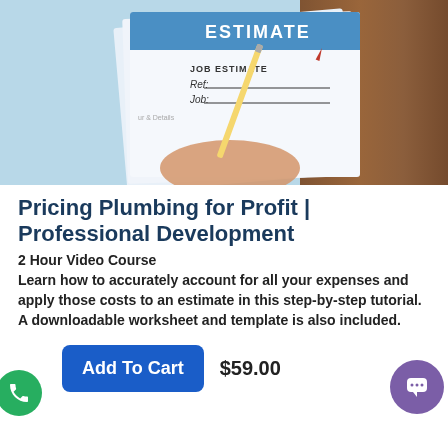[Figure (photo): A hand holding a pencil filling out a job estimate form on paper, with blue header reading ESTIMATE, and fields for JOB ESTIMATE, Ref., and Job. Wooden surface visible in background.]
Pricing Plumbing for Profit | Professional Development
2 Hour Video Course
Learn how to accurately account for all your expenses and apply those costs to an estimate in this step-by-step tutorial. A downloadable worksheet and template is also included.
Add To Cart  $59.00